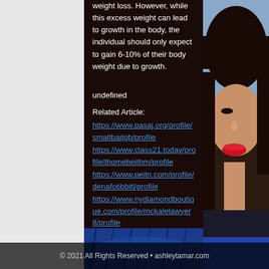weight loss. However, while this excess weight can lead to growth in the body, the individual should only expect to gain 6-10% of their body weight due to growth.
undefined
Related Article:
https://www.pasaj.org/profile/smaltbaitgb/profile
https://www.class21.today/profile/thomebeithm/profile
https://www.peitn.com/profile/denafotibbitl/profile
https://www.nydiamondboutique.com/profile/mckalelawyer8/profile
[Figure (photo): Photo of a woman with dark hair and red lips, partially visible on the right side of the page, with a blue fabric or clothing visible at the bottom]
© 2021 All Rights Reserved • ashleytamar.com